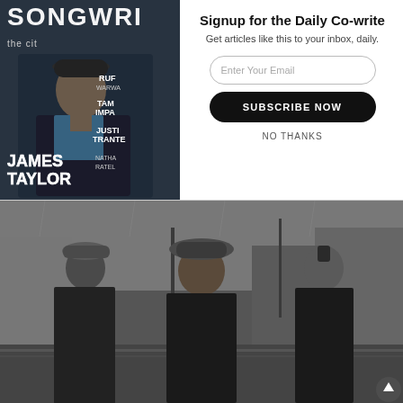[Figure (photo): Magazine cover of Songwriters magazine featuring James Taylor seated in dark clothing, with text overlaid listing featured artists including Ruf, Tam/Impa, Justin Tranter, Nathan Ratel]
Signup for the Daily Co-write
Get articles like this to your inbox, daily.
Enter Your Email
SUBSCRIBE NOW
NO THANKS
[Figure (photo): Black and white photograph of three people standing on a rainy city street. Left: man in flat cap and dark coat. Center: woman in wide-brim hat and dark coat. Right: man in dark hoodie with mohawk hairstyle.]